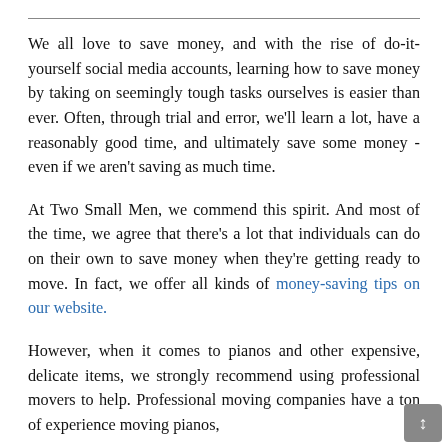We all love to save money, and with the rise of do-it-yourself social media accounts, learning how to save money by taking on seemingly tough tasks ourselves is easier than ever. Often, through trial and error, we'll learn a lot, have a reasonably good time, and ultimately save some money - even if we aren't saving as much time.
At Two Small Men, we commend this spirit. And most of the time, we agree that there's a lot that individuals can do on their own to save money when they're getting ready to move. In fact, we offer all kinds of money-saving tips on our website.
However, when it comes to pianos and other expensive, delicate items, we strongly recommend using professional movers to help. Professional moving companies have a ton of experience moving pianos,